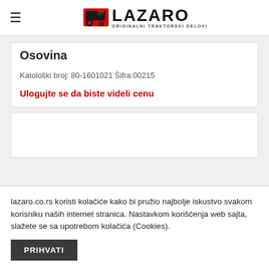LAZARO ORIGINALNI TRAKTORSKI DELOVI
Osovina
Katološki broj: 80-1601021 Šifra:00215
Ulogujte se da biste videli cenu
lazaro.co.rs koristi kolačiće kako bi pružio najbolje iskustvo svakom korisniku naših internet stranica. Nastavkom korišćenja web sajta, slažete se sa upotrebom kolačića (Cookies).
PRIHVATI